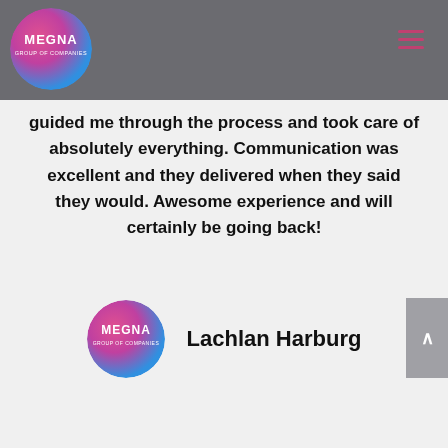[Figure (logo): Megna Group of Companies circular logo with pink-to-blue gradient, top-left navigation bar]
guided me through the process and took care of absolutely everything. Communication was excellent and they delivered when they said they would. Awesome experience and will certainly be going back!
[Figure (logo): Megna Group of Companies circular logo with pink-to-blue gradient, bottom author section]
Lachlan Harburg